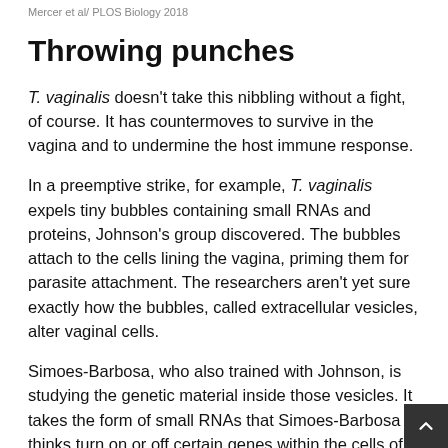Mercer et al/ PLOS Biology 2018
Throwing punches
T. vaginalis doesn't take this nibbling without a fight, of course. It has countermoves to survive in the vagina and to undermine the host immune response.
In a preemptive strike, for example, T. vaginalis expels tiny bubbles containing small RNAs and proteins, Johnson's group discovered. The bubbles attach to the cells lining the vagina, priming them for parasite attachment. The researchers aren't yet sure exactly how the bubbles, called extracellular vesicles, alter vaginal cells.
Simoes-Barbosa, who also trained with Johnson, is studying the genetic material inside those vesicles. It takes the form of small RNAs that Simoes-Barbosa thinks turn on or off certain genes within the cells of